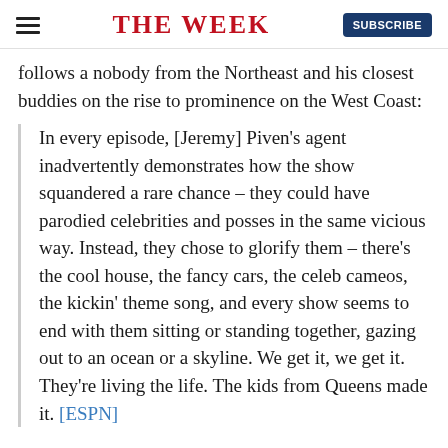THE WEEK | SUBSCRIBE
follows a nobody from the Northeast and his closest buddies on the rise to prominence on the West Coast:
In every episode, [Jeremy] Piven's agent inadvertently demonstrates how the show squandered a rare chance – they could have parodied celebrities and posses in the same vicious way. Instead, they chose to glorify them – there's the cool house, the fancy cars, the celeb cameos, the kickin' theme song, and every show seems to end with them sitting or standing together, gazing out to an ocean or a skyline. We get it, we get it. They're living the life. The kids from Queens made it. [ESPN]